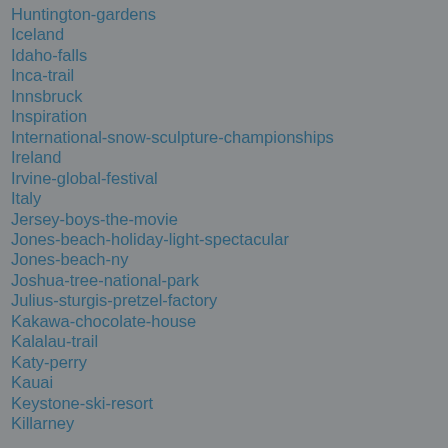Huntington-gardens
Iceland
Idaho-falls
Inca-trail
Innsbruck
Inspiration
International-snow-sculpture-championships
Ireland
Irvine-global-festival
Italy
Jersey-boys-the-movie
Jones-beach-holiday-light-spectacular
Jones-beach-ny
Joshua-tree-national-park
Julius-sturgis-pretzel-factory
Kakawa-chocolate-house
Kalalau-trail
Katy-perry
Kauai
Keystone-ski-resort
Killarney